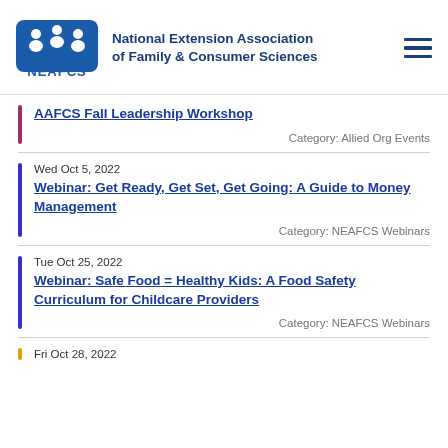[Figure (logo): NEAFCS logo - blue stylized letter N with people figures, text NEAFCS below]
National Extension Association of Family & Consumer Sciences
AAFCS Fall Leadership Workshop | Category: Allied Org Events
Wed Oct 5, 2022 | Webinar: Get Ready, Get Set, Get Going: A Guide to Money Management | Category: NEAFCS Webinars
Tue Oct 25, 2022 | Webinar: Safe Food = Healthy Kids: A Food Safety Curriculum for Childcare Providers | Category: NEAFCS Webinars
Fri Oct 28, 2022